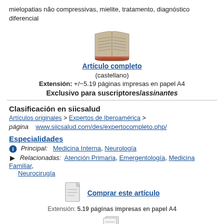mielopatias não compressivas, mielite, tratamento, diagnóstico diferencial
[Figure (illustration): Open book icon]
Artículo completo
(castellano)
Extensión:  +/−5.19 páginas impresas en papel A4
Exclusivo para suscriptores/assinantes
Clasificación en siicsalud
Artículos originales > Expertos de Iberoamérica >
página   www.siicsalud.com/des/expertocompleto.php/
Especialidades
Principal:  Medicina Interna, Neurología
Relacionadas:  Atención Primaria, Emergentología, Medicina Familiar, Neurocirugía
[Figure (illustration): Document/page icon for purchase]
Comprar este artículo
Extensión: 5.19 páginas impresas en papel A4
[Figure (illustration): Another document icon at the bottom]